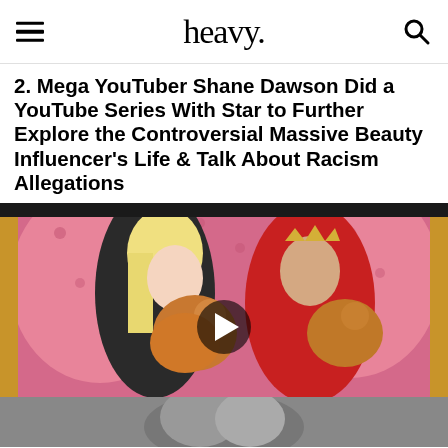heavy.
2. Mega YouTuber Shane Dawson Did a YouTube Series With Star to Further Explore the Controversial Massive Beauty Influencer’s Life & Talk About Racism Allegations
[Figure (screenshot): Video thumbnail showing two people sitting on a pink tufted sofa holding Pomeranian dogs, with a play button overlay in the center. Left person has long blonde hair wearing black fur, right person wears a red robe and small crown. Below the main video frame is a partially visible secondary image.]